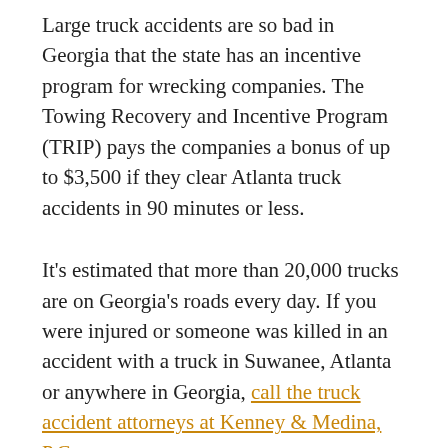Large truck accidents are so bad in Georgia that the state has an incentive program for wrecking companies. The Towing Recovery and Incentive Program (TRIP) pays the companies a bonus of up to $3,500 if they clear Atlanta truck accidents in 90 minutes or less.
It's estimated that more than 20,000 trucks are on Georgia's roads every day. If you were injured or someone was killed in an accident with a truck in Suwanee, Atlanta or anywhere in Georgia, call the truck accident attorneys at Kenney & Medina, P.C.
The TRIP program clears over 250 truck accidents every year. Georgia consistently ranks in the top 10